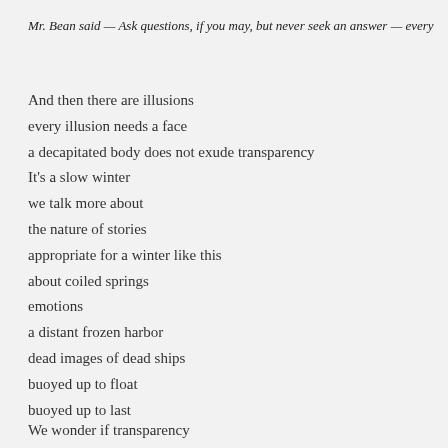Mr. Bean said — Ask questions, if you may, but never seek an answer — every
And then there are illusions
every illusion needs a face
a decapitated body does not exude transparency
It's a slow winter
we talk more about
the nature of stories
appropriate for a winter like this
about coiled springs
emotions
a distant frozen harbor
dead images of dead ships
buoyed up to float
buoyed up to last
We wonder if transparency